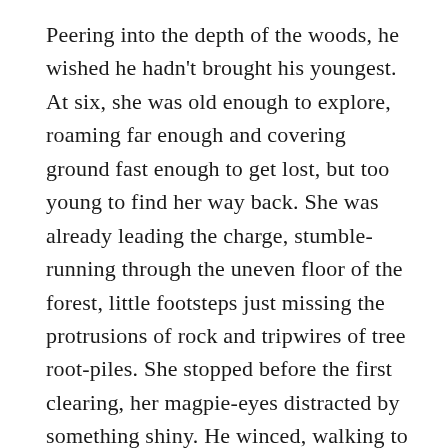Peering into the depth of the woods, he wished he hadn't brought his youngest. At six, she was old enough to explore, roaming far enough and covering ground fast enough to get lost, but too young to find her way back. She was already leading the charge, stumble-running through the uneven floor of the forest, little footsteps just missing the protrusions of rock and tripwires of tree root-piles. She stopped before the first clearing, her magpie-eyes distracted by something shiny. He winced, walking to her in brisk steps, hoping she was reaching for the glossy gold of a King crisp packet and not the sharp point of a half-crushed discarded can of Dutch.